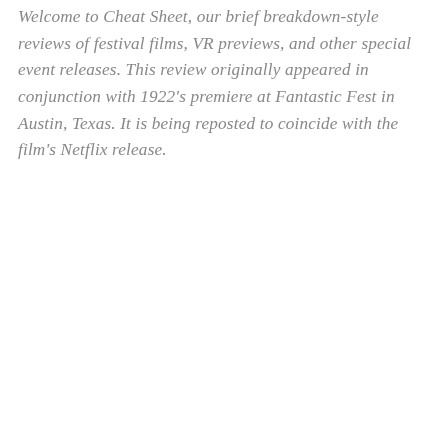Welcome to Cheat Sheet, our brief breakdown-style reviews of festival films, VR previews, and other special event releases. This review originally appeared in conjunction with 1922's premiere at Fantastic Fest in Austin, Texas. It is being reposted to coincide with the film's Netflix release.